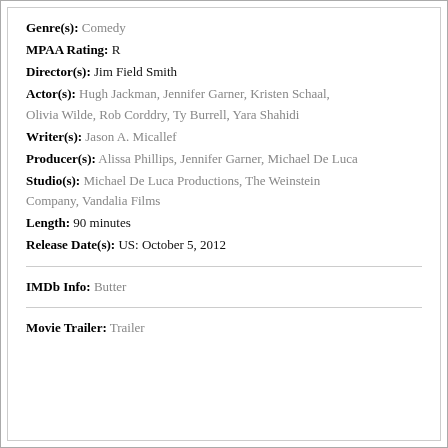Genre(s): Comedy
MPAA Rating: R
Director(s): Jim Field Smith
Actor(s): Hugh Jackman, Jennifer Garner, Kristen Schaal, Olivia Wilde, Rob Corddry, Ty Burrell, Yara Shahidi
Writer(s): Jason A. Micallef
Producer(s): Alissa Phillips, Jennifer Garner, Michael De Luca
Studio(s): Michael De Luca Productions, The Weinstein Company, Vandalia Films
Length: 90 minutes
Release Date(s): US: October 5, 2012
IMDb Info: Butter
Movie Trailer: Trailer